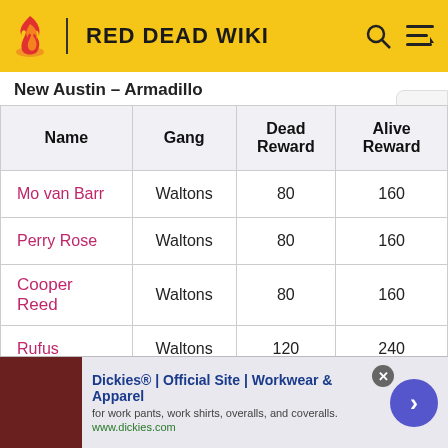Red Dead Wiki
New Austin – Armadillo
| Name | Gang | Dead Reward | Alive Reward |
| --- | --- | --- | --- |
| Mo van Barr | Waltons | 80 | 160 |
| Perry Rose | Waltons | 80 | 160 |
| Cooper Reed | Waltons | 80 | 160 |
| Rufus | Waltons | 120 | 240 |
Dickies® | Official Site | Workwear & Apparel — for work pants, work shirts, overalls, and coveralls. www.dickies.com